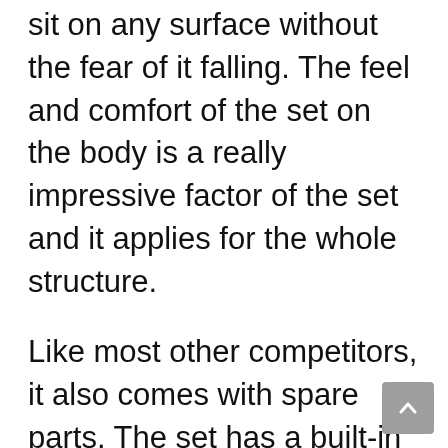sit on any surface without the fear of it falling. The feel and comfort of the set on the body is a really impressive factor of the set and it applies for the whole structure.
Like most other competitors, it also comes with spare parts. The set has a built-in LED light which helps illuminate darker spaces and working there. The power is of 110V which is brilliant in terms of output.
This really brilliant in terms of